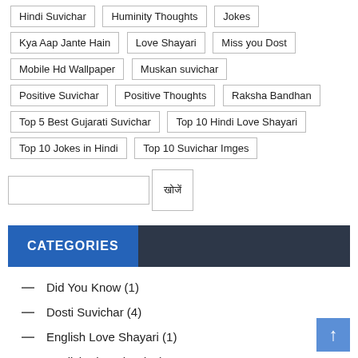Hindi Suvichar
Huminity Thoughts
Jokes
Kya Aap Jante Hain
Love Shayari
Miss you Dost
Mobile Hd Wallpaper
Muskan suvichar
Positive Suvichar
Positive Thoughts
Raksha Bandhan
Top 5 Best Gujarati Suvichar
Top 10 Hindi Love Shayari
Top 10 Jokes in Hindi
Top 10 Suvichar Imges
ख़ोजें
CATEGORIES
Did You Know (1)
Dosti Suvichar (4)
English Love Shayari (1)
English Thoughts (43)
Fostival Suvichar (33)